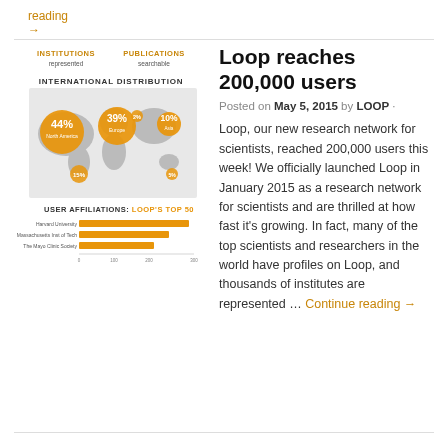reading →
[Figure (infographic): Loop research network infographic showing: INSTITUTIONS represented, PUBLICATIONS searchable labels at top. INTERNATIONAL DISTRIBUTION world map with orange circles: 44% North America, 39% Europe, 10% Asia, 2% (small), 15% (small), and another small circle. USER AFFILIATIONS: LOOP'S TOP 50 horizontal bar chart at bottom.]
Loop reaches 200,000 users
Posted on May 5, 2015 by LOOP ·
Loop, our new research network for scientists, reached 200,000 users this week! We officially launched Loop in January 2015 as a research network for scientists and are thrilled at how fast it's growing. In fact, many of the top scientists and researchers in the world have profiles on Loop, and thousands of institutes are represented … Continue reading →